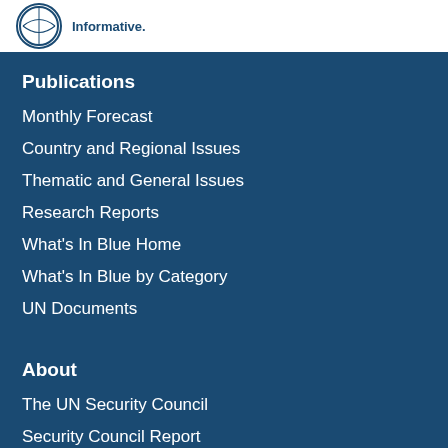[Figure (logo): Circular logo with Security Council Report branding and tagline 'Informative.']
Publications
Monthly Forecast
Country and Regional Issues
Thematic and General Issues
Research Reports
What's In Blue Home
What's In Blue by Category
UN Documents
About
The UN Security Council
Security Council Report